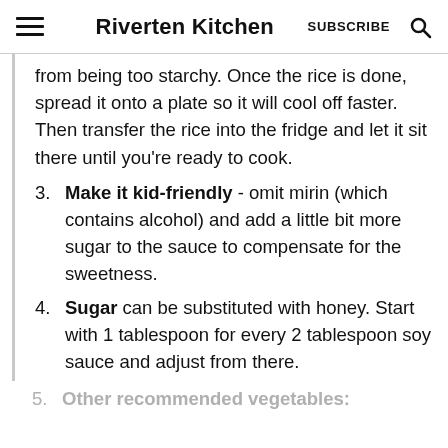Riverten Kitchen  SUBSCRIBE
from being too starchy. Once the rice is done, spread it onto a plate so it will cool off faster. Then transfer the rice into the fridge and let it sit there until you're ready to cook.
3. Make it kid-friendly - omit mirin (which contains alcohol) and add a little bit more sugar to the sauce to compensate for the sweetness.
4. Sugar can be substituted with honey. Start with 1 tablespoon for every 2 tablespoon soy sauce and adjust from there.
5. Other recommended vegetables: